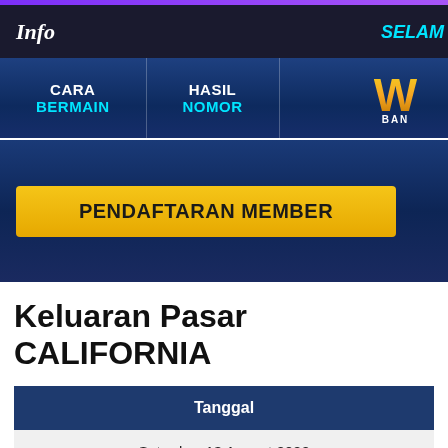Info  SELAM
[Figure (screenshot): Navigation bar with CARA BERMAIN and HASIL NOMOR tabs, and a logo with W and BAN on the right side]
[Figure (screenshot): Yellow button labeled PENDAFTARAN MEMBER on a dark blue gradient background]
Keluaran Pasar CALIFORNIA
| Tanggal |
| --- |
| Saturday, 13 August 2022 |
| Friday, 12 August 2022 |